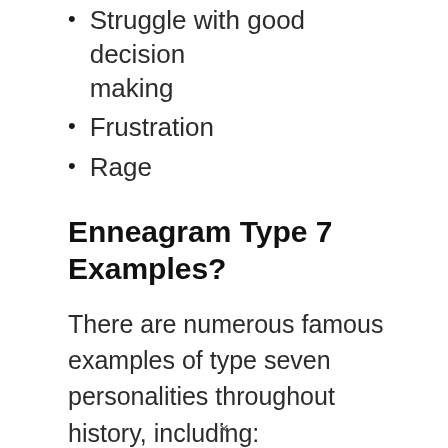Struggle with good decision making
Frustration
Rage
Enneagram Type 7 Examples?
There are numerous famous examples of type seven personalities throughout history, including:
Dalai Lama
Galileo Galilei
Wolfgang Amadeus Mozart